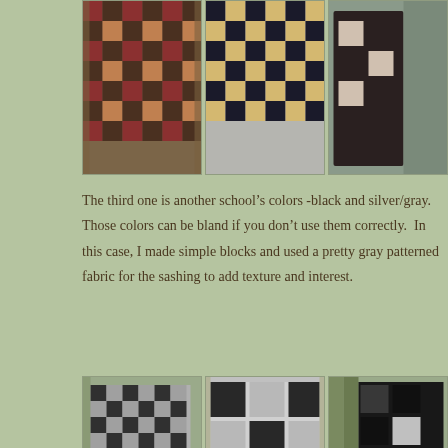[Figure (photo): Three photos of quilts hanging on a wooden fence. Left: checkerboard quilt in burgundy/brown and dark tones. Center: black and beige/gold checkerboard quilt. Right: dark quilt partially folded showing checkerboard pattern.]
The third one is another school's colors -black and silver/gray. Those colors can be bland if you don't use them correctly. In this case, I made simple blocks and used a pretty gray patterned fabric for the sashing to add texture and interest.
[Figure (photo): Three photos of black and gray checkerboard quilts hanging on a wooden fence. Left: quilt with small black and gray squares. Center: quilt with larger black and gray squares. Right: dark quilt partially showing the pattern.]
Another one I made using the split rail (aka rail fence) design, and